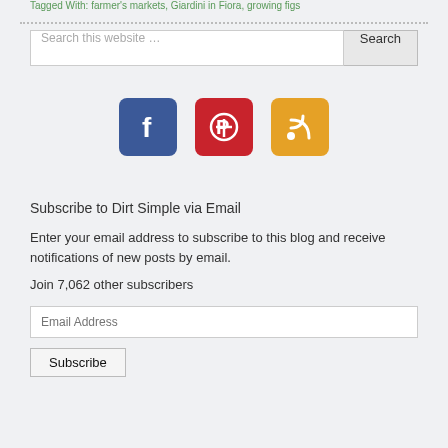Tagged With: farmer's markets, Giardini in Fiora, growing figs
[Figure (other): Social media icons: Facebook (blue), Pinterest (red), RSS feed (orange)]
Subscribe to Dirt Simple via Email
Enter your email address to subscribe to this blog and receive notifications of new posts by email.
Join 7,062 other subscribers